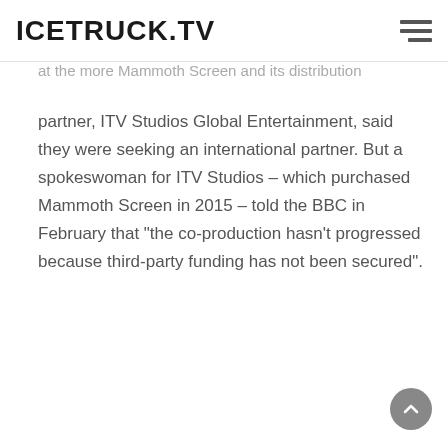ICETRUCK.TV
at the more Mammoth Screen and its distribution partner, ITV Studios Global Entertainment, said they were seeking an international partner. But a spokeswoman for ITV Studios – which purchased Mammoth Screen in 2015 – told the BBC in February that "the co-production hasn't progressed because third-party funding has not been secured".